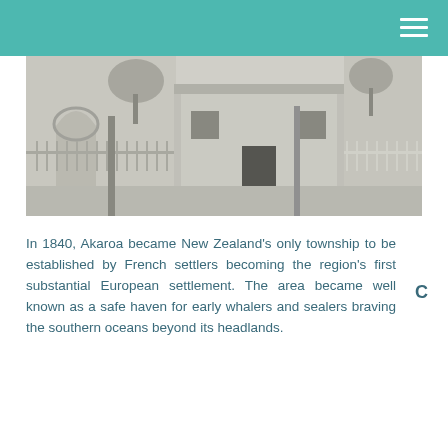[Figure (photo): Black and white historical photograph of a street scene in Akaroa, showing a building with steps, fencing, and trees in the background.]
In 1840, Akaroa became New Zealand's only township to be established by French settlers becoming the region's first substantial European settlement. The area became well known as a safe haven for early whalers and sealers braving the southern oceans beyond its headlands.
C